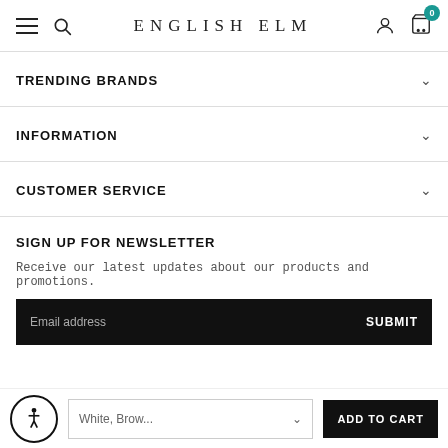ENGLISH ELM
TRENDING BRANDS
INFORMATION
CUSTOMER SERVICE
SIGN UP FOR NEWSLETTER
Receive our latest updates about our products and promotions.
Email address  SUBMIT
White, Brow...  ADD TO CART